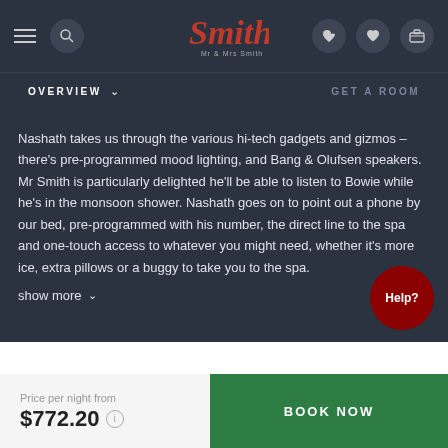[Figure (screenshot): Mr & Mrs Smith hotel booking website navigation bar with hamburger menu, search icon, Mr & Mrs Smith logo in red cursive, phone, heart, and luggage icons on right]
OVERVIEW   GET A ROOM
Nashath takes us through the various hi-tech gadgets and gizmos – there's pre-programmed mood lighting, and Bang & Olufsen speakers. Mr Smith is particularly delighted he'll be able to listen to Bowie while he's in the monsoon shower. Nashath goes on to point out a phone by our bed, pre-programmed with his number, the direct line to the spa and one-touch access to whatever you might need, whether it's more ice, extra pillows or a buggy to take you to the spa.
show more
Help?
Price per night from
$772.20
BOOK NOW